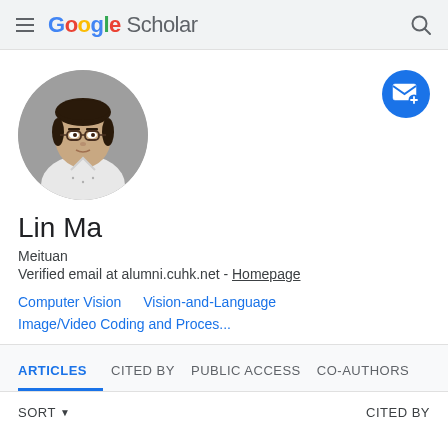Google Scholar
[Figure (photo): Circular profile photo of Lin Ma, a man wearing glasses and a white patterned shirt, against a gray background]
[Figure (other): Blue circular email/follow button with envelope icon in top right]
Lin Ma
Meituan
Verified email at alumni.cuhk.net - Homepage
Computer Vision
Vision-and-Language
Image/Video Coding and Proces...
ARTICLES  CITED BY  PUBLIC ACCESS  CO-AUTHORS
SORT  CITED BY